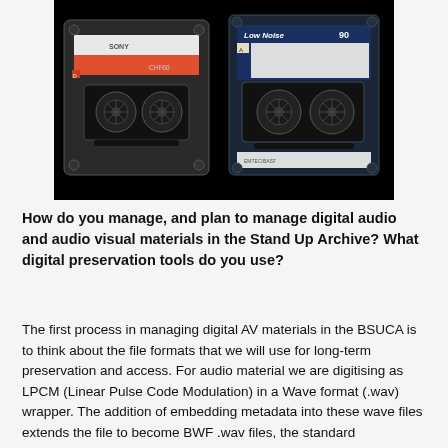[Figure (photo): Two cassette tapes photographed against a black background. Left cassette is a Sony CHF60 with an orange/red label. Right cassette is labeled 'Low Noise 90'.]
How do you manage, and plan to manage digital audio and audio visual materials in the Stand Up Archive? What digital preservation tools do you use?
The first process in managing digital AV materials in the BSUCA is to think about the file formats that we will use for long-term preservation and access. For audio material we are digitising as LPCM (Linear Pulse Code Modulation) in a Wave format (.wav) wrapper. The addition of embedding metadata into these wave files extends the file to become BWF .wav files, the standard